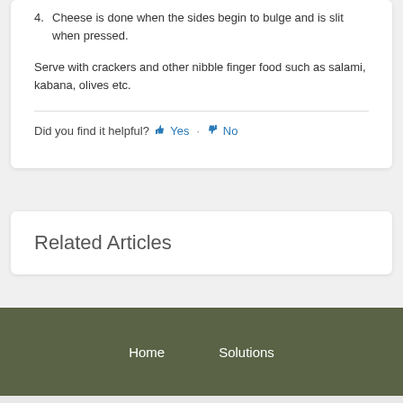4. Cheese is done when the sides begin to bulge and is slit when pressed.
Serve with crackers and other nibble finger food such as salami, kabana, olives etc.
Did you find it helpful?  Yes  ·  No
Related Articles
Home    Solutions